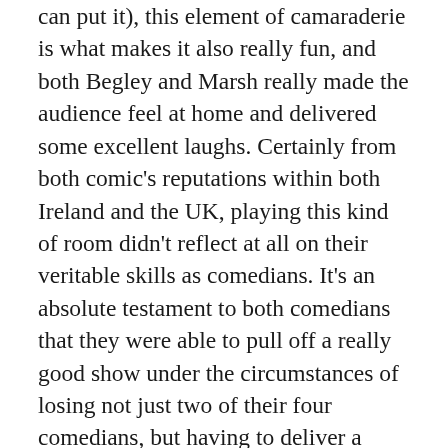can put it), this element of camaraderie is what makes it also really fun, and both Begley and Marsh really made the audience feel at home and delivered some excellent laughs. Certainly from both comic's reputations within both Ireland and the UK, playing this kind of room didn't reflect at all on their veritable skills as comedians. It's an absolute testament to both comedians that they were able to pull off a really good show under the circumstances of losing not just two of their four comedians, but having to deliver a comedy show at 10 in the morning. Delivering your act in front of ten people armed with nothing more than cappuccinos can't be easy, so I give them full credit for that, and for putting on a great morning show.